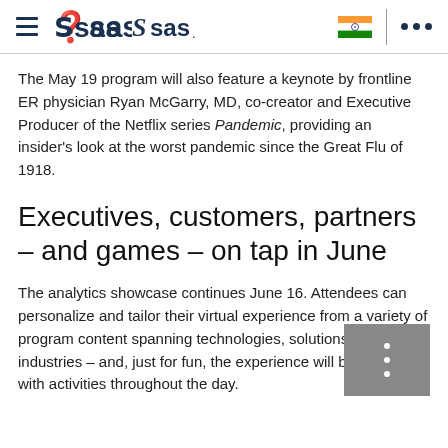SAS logo navigation header with hamburger menu, Indian flag, and more options
The May 19 program will also feature a keynote by frontline ER physician Ryan McGarry, MD, co-creator and Executive Producer of the Netflix series Pandemic, providing an insider's look at the worst pandemic since the Great Flu of 1918.
Executives, customers, partners – and games – on tap in June
The analytics showcase continues June 16. Attendees can personalize and tailor their virtual experience from a variety of program content spanning technologies, solutions and industries – and, just for fun, the experience will be gamified, with activities throughout the day.